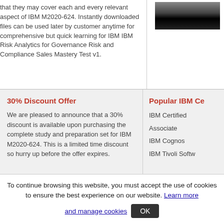that they may cover each and every relevant aspect of IBM M2020-624. Instantly downloaded files can be used later by customer anytime for comprehensive but quick learning for IBM IBM Risk Analytics for Governance Risk and Compliance Sales Mastery Test v1.
[Figure (screenshot): Partial screenshot of a product or exam image, dark/gradient rectangle]
30% Discount Offer
We are pleased to announce that a 30% discount is available upon purchasing the complete study and preparation set for IBM M2020-624. This is a limited time discount so hurry up before the offer expires.
Popular IBM Ce
IBM Certified
Associate
IBM Cognos
IBM Tivoli Softw
To continue browsing this website, you must accept the use of cookies to ensure the best experience on our website. Learn more and manage cookies